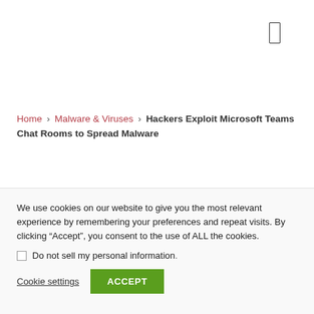[Figure (other): Small rectangle icon (menu or UI element) in top right corner]
Home > Malware & Viruses > Hackers Exploit Microsoft Teams Chat Rooms to Spread Malware
We use cookies on our website to give you the most relevant experience by remembering your preferences and repeat visits. By clicking "Accept", you consent to the use of ALL the cookies.
Do not sell my personal information.
Cookie settings  ACCEPT